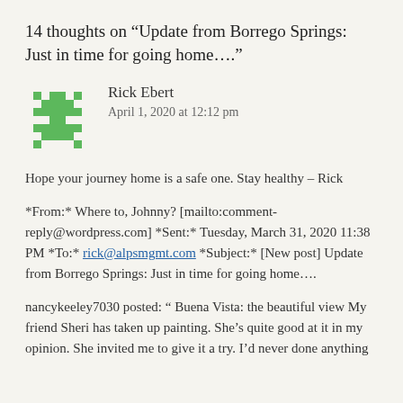14 thoughts on “Update from Borrego Springs: Just in time for going home….”
[Figure (illustration): Green pixel/mosaic avatar icon for commenter Rick Ebert]
Rick Ebert
April 1, 2020 at 12:12 pm
Hope your journey home is a safe one. Stay healthy – Rick
*From:* Where to, Johnny? [mailto:comment-reply@wordpress.com] *Sent:* Tuesday, March 31, 2020 11:38 PM *To:* rick@alpsmgmt.com *Subject:* [New post] Update from Borrego Springs: Just in time for going home….
nancykeeley7030 posted: “ Buena Vista: the beautiful view My friend Sheri has taken up painting. She’s quite good at it in my opinion. She invited me to give it a try. I’d never done anything